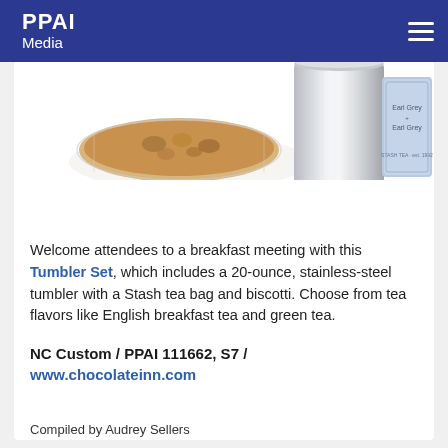PPAI Media
[Figure (photo): Product photo showing a biscotti in clear packaging, a stainless steel tumbler cup, and an Earl Grey tea bag package on white background]
Welcome attendees to a breakfast meeting with this Tumbler Set, which includes a 20-ounce, stainless-steel tumbler with a Stash tea bag and biscotti. Choose from tea flavors like English breakfast tea and green tea.
NC Custom / PPAI 111662, S7 / www.chocolateinn.com
Compiled by Audrey Sellers